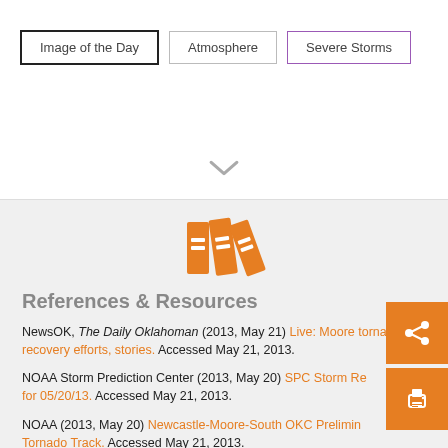Image of the Day | Atmosphere | Severe Storms
[Figure (illustration): Orange book/binder icons representing a references and resources section]
References & Resources
NewsOK, The Daily Oklahoman (2013, May 21) Live: Moore tornado recovery efforts, stories. Accessed May 21, 2013.
NOAA Storm Prediction Center (2013, May 20) SPC Storm Reports for 05/20/13. Accessed May 21, 2013.
NOAA (2013, May 20) Newcastle-Moore-South OKC Preliminary Tornado Track. Accessed May 21, 2013.